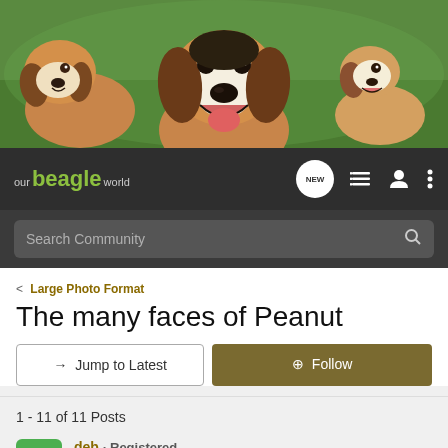[Figure (photo): Hero banner showing three beagle dogs on a green grassy background]
our beagle world — navigation bar with NEW, list, profile, and menu icons, and Search Community search bar
< Large Photo Format
The many faces of Peanut
→ Jump to Latest    ⊕ Follow
1 - 11 of 11 Posts
deb · Registered
Joined Feb 28, 2008 · 271 Posts